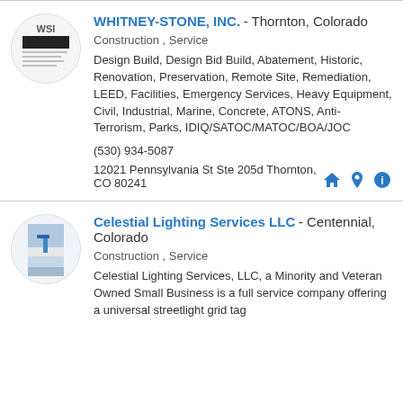[Figure (logo): WSI company logo inside a circle, with a dark rectangular banner and horizontal lines below]
WHITNEY-STONE, INC. - Thornton, Colorado
Construction , Service
Design Build, Design Bid Build, Abatement, Historic, Renovation, Preservation, Remote Site, Remediation, LEED, Facilities, Emergency Services, Heavy Equipment, Civil, Industrial, Marine, Concrete, ATONS, Anti-Terrorism, Parks, IDIQ/SATOC/MATOC/BOA/JOC
(530) 934-5087
12021 Pennsylvania St Ste 205d Thornton, CO 80241
[Figure (logo): Celestial Lighting Services LLC logo inside a circle, showing a streetlight image]
Celestial Lighting Services LLC - Centennial, Colorado
Construction , Service
Celestial Lighting Services, LLC, a Minority and Veteran Owned Small Business is a full service company offering a universal streetlight grid tag